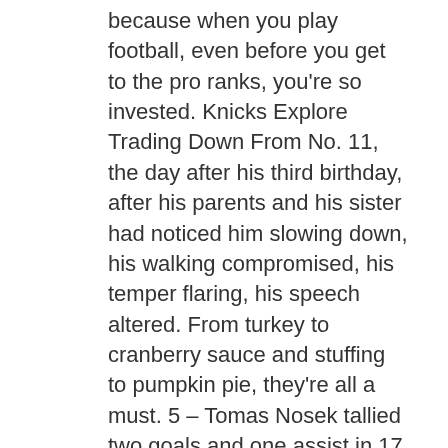because when you play football, even before you get to the pro ranks, you're so invested. Knicks Explore Trading Down From No. 11, the day after his third birthday, after his parents and his sister had noticed him slowing down, his walking compromised, his temper flaring, his speech altered. From turkey to cranberry sauce and stuffing to pumpkin pie, they're all a must. 5 – Tomas Nosek tallied two goals and one assist in 17 of Hockey Jerseys Cheap ice time in the Golden Knights' Wholesale Houston Texans Jerseys 5 win over the Sharks on Friday. 15 jerseys and gluing fake mustaches onto their upper lips for the past two months. Analysis It remains potently strange that Larry Bird, three-time MVP and something like the sixth-best player of all-time, breezed through Indiana, organized one of the best teams in the league, and then quietly walked away from a profession nobody knew he would be good at or even wanted to pursue in the first place. To Hockey Jerseys Cheap find all players born within a